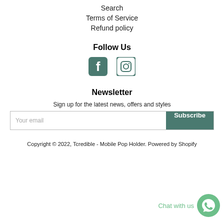Search
Terms of Service
Refund policy
Follow Us
[Figure (other): Facebook and Instagram social media icons]
Newsletter
Sign up for the latest news, offers and styles
Your email [input] Subscribe [button]
Copyright © 2022, Tcredible - Mobile Pop Holder. Powered by Shopify
[Figure (other): Chat with us WhatsApp widget]